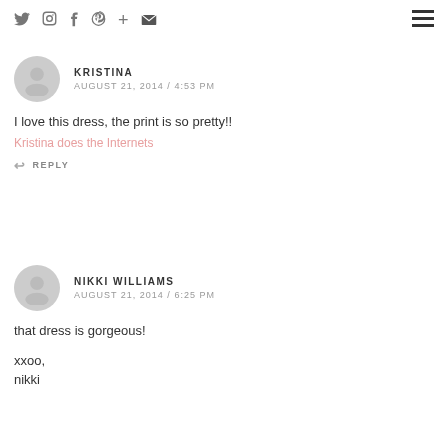Social icons: Twitter, Instagram, Facebook, Pinterest, Plus, Email | Hamburger menu
KRISTINA
AUGUST 21, 2014 / 4:53 PM
I love this dress, the print is so pretty!!
Kristina does the Internets
↩ REPLY
NIKKI WILLIAMS
AUGUST 21, 2014 / 6:25 PM
that dress is gorgeous!

xxoo,
nikki